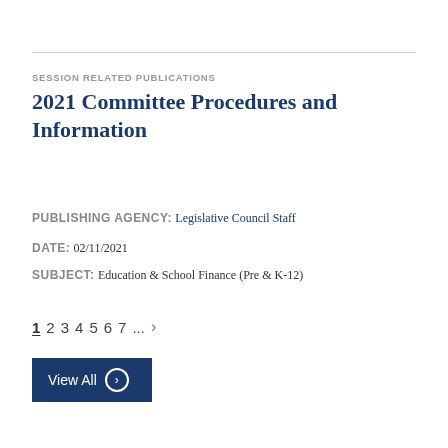SESSION RELATED PUBLICATIONS
2021 Committee Procedures and Information
PUBLISHING AGENCY: Legislative Council Staff
DATE: 02/11/2021
SUBJECT: Education & School Finance (Pre & K-12)
1 2 3 4 5 6 7 ... >
View All